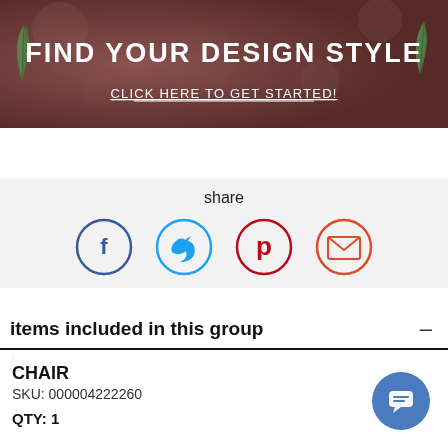[Figure (illustration): Banner with blurred brownish-rose background, decorative leaf graphics, title 'FIND YOUR DESIGN STYLE' and subtext 'CLICK HERE TO GET STARTED!']
share
[Figure (infographic): Four social share icon circles: Facebook (blue), Twitter (light blue), Pinterest (red), Email/envelope (red-orange)]
items included in this group
CHAIR
SKU: 000004222260

QTY: 1